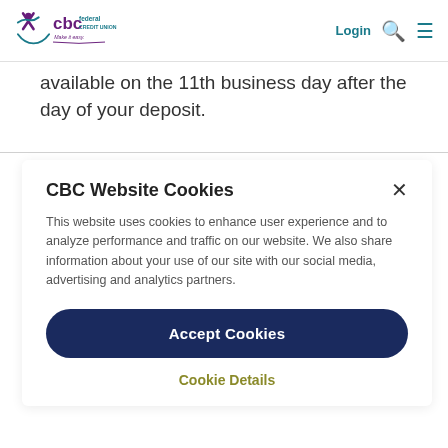CBC Federal Credit Union — Login
available on the 11th business day after the day of your deposit.
CBC Website Cookies
This website uses cookies to enhance user experience and to analyze performance and traffic on our website. We also share information about your use of our site with our social media, advertising and analytics partners.
Accept Cookies
Cookie Details